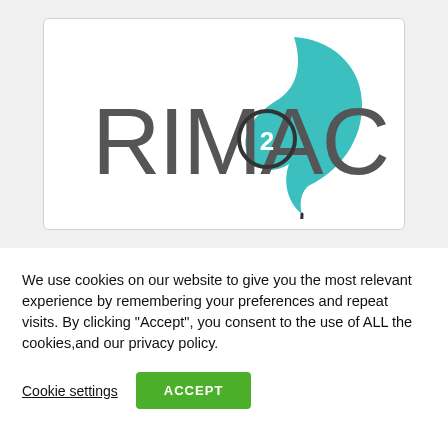[Figure (logo): RIMAC logo with teal swoosh/bird graphic and circled number 2 inside the letter C]
We use cookies on our website to give you the most relevant experience by remembering your preferences and repeat visits. By clicking “Accept”, you consent to the use of ALL the cookies,and our privacy policy.
Cookie settings
ACCEPT